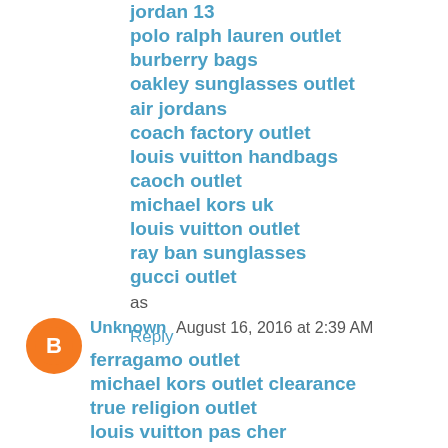jordan 13
polo ralph lauren outlet
burberry bags
oakley sunglasses outlet
air jordans
coach factory outlet
louis vuitton handbags
caoch outlet
michael kors uk
louis vuitton outlet
ray ban sunglasses
gucci outlet
as
Reply
Unknown  August 16, 2016 at 2:39 AM
ferragamo outlet
michael kors outlet clearance
true religion outlet
louis vuitton pas cher